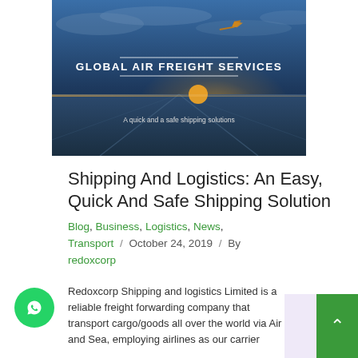[Figure (photo): Dark-toned banner image of an airplane on a runway at sunset/sunrise with blue sky. Text overlay reads 'GLOBAL AIR FREIGHT SERVICES' and subtitle 'A quick and a safe shipping solutions'.]
Shipping And Logistics: An Easy, Quick And Safe Shipping Solution
Blog, Business, Logistics, News, Transport / October 24, 2019 / By redoxcorp
Redoxcorp Shipping and logistics Limited is a reliable freight forwarding company that transport cargo/goods all over the world via Air and Sea, employing airlines as our carrier